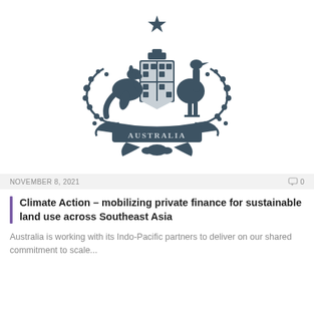[Figure (logo): Australian Government coat of arms: kangaroo on left, emu on right, central shield with floral wattle branches, star above, banner reading AUSTRALIA below, in dark teal/slate color.]
NOVEMBER 8, 2021   0
Climate Action – mobilizing private finance for sustainable land use across Southeast Asia
Australia is working with its Indo-Pacific partners to deliver on our shared commitment to scale...